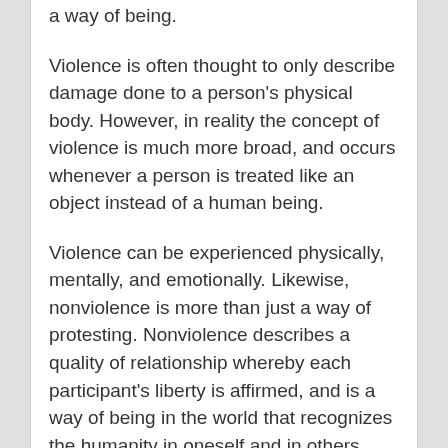a way of being.
Violence is often thought to only describe damage done to a person's physical body. However, in reality the concept of violence is much more broad, and occurs whenever a person is treated like an object instead of a human being.
Violence can be experienced physically, mentally, and emotionally. Likewise, nonviolence is more than just a way of protesting. Nonviolence describes a quality of relationship whereby each participant's liberty is affirmed, and is a way of being in the world that recognizes the humanity in oneself and in others.